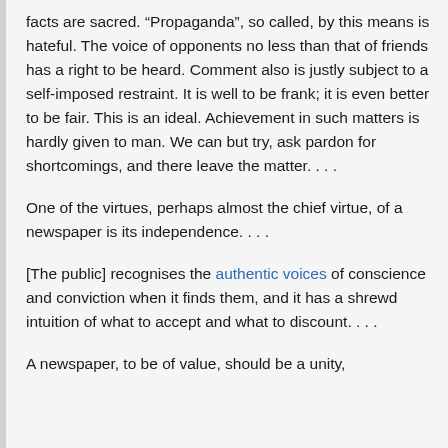facts are sacred. “Propaganda”, so called, by this means is hateful. The voice of opponents no less than that of friends has a right to be heard. Comment also is justly subject to a self-imposed restraint. It is well to be frank; it is even better to be fair. This is an ideal. Achievement in such matters is hardly given to man. We can but try, ask pardon for shortcomings, and there leave the matter. . . .
One of the virtues, perhaps almost the chief virtue, of a newspaper is its independence. . . .
[The public] recognises the authentic voices of conscience and conviction when it finds them, and it has a shrewd intuition of what to accept and what to discount. . . .
A newspaper, to be of value, should be a unity,